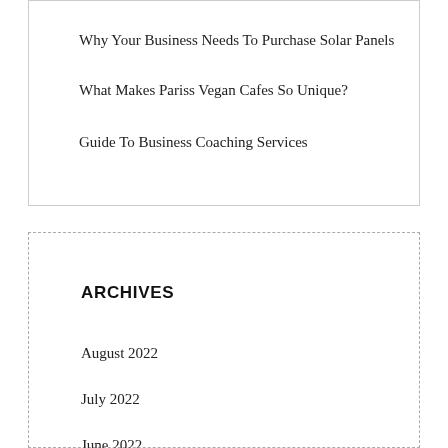Why Your Business Needs To Purchase Solar Panels
What Makes Pariss Vegan Cafes So Unique?
Guide To Business Coaching Services
ARCHIVES
August 2022
July 2022
June 2022
May 2022